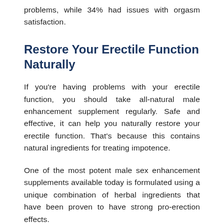problems, while 34% had issues with orgasm satisfaction.
Restore Your Erectile Function Naturally
If you're having problems with your erectile function, you should take all-natural male enhancement supplement regularly. Safe and effective, it can help you naturally restore your erectile function. That's because this contains natural ingredients for treating impotence.
One of the most potent male sex enhancement supplements available today is formulated using a unique combination of herbal ingredients that have been proven to have strong pro-erection effects.
This supplement also contains Tribulus terrestris, horny goat weed, and Tongkat Ali along with scientifi...